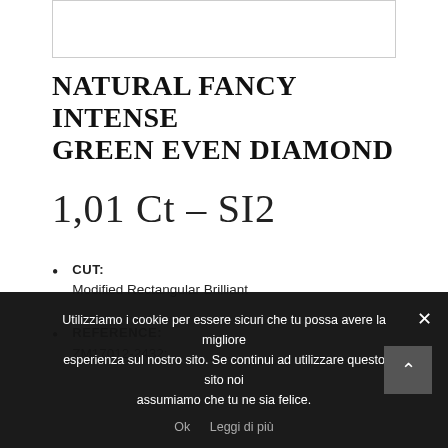[Figure (photo): White rectangular image placeholder area at top of page]
NATURAL FANCY INTENSE GREEN EVEN DIAMOND
1,01 Ct – SI2
CUT: Modified Rectangular Brilliant
REFERENCE: ZM17012-2432;
Utilizziamo i cookie per essere sicuri che tu possa avere la migliore esperienza sul nostro sito. Se continui ad utilizzare questo sito noi assumiamo che tu ne sia felice. Ok  Leggi di più